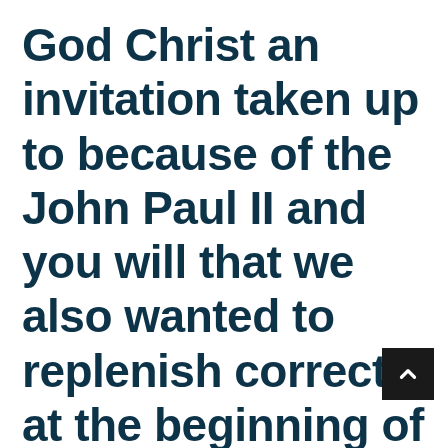God Christ an invitation taken up to because of the John Paul II and you will that we also wanted to replenish correctly at the beginning of my Pontificate could be imagined from the the